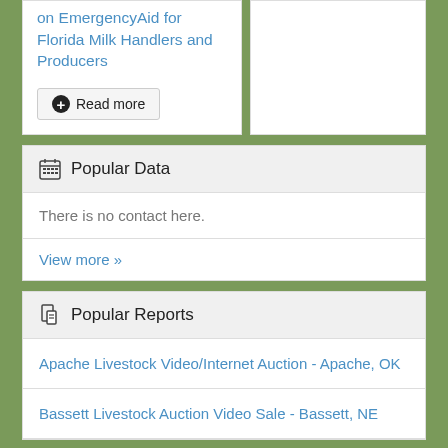on EmergencyAid for Florida Milk Handlers and Producers
Read more
Popular Data
There is no contact here.
View more »
Popular Reports
Apache Livestock Video/Internet Auction - Apache, OK
Bassett Livestock Auction Video Sale - Bassett, NE